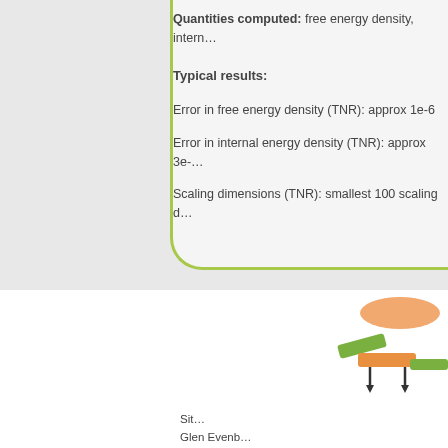Quantities computed: free energy density, intern…
Typical results:
Error in free energy density (TNR): approx 1e-6
Error in internal energy density (TNR): approx 3e-…
Scaling dimensions (TNR): smallest 100 scaling d…
[Figure (schematic): A tree tensor network diagram showing hierarchical tensor connections with orange and green colored tensor nodes.]
Sit…
Glen Evenb…
Email: